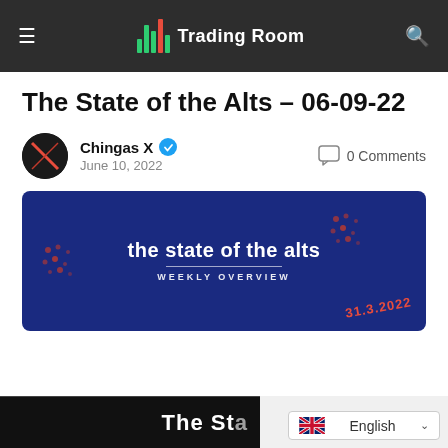Trading Room
The State of the Alts – 06-09-22
Chingas X · June 10, 2022 · 0 Comments
[Figure (illustration): Banner image with dark blue background showing 'the state of the alts WEEKLY OVERVIEW' in white text with decorative elements and date 31.3.2022 in red]
[Figure (screenshot): Partial view of another image/article at bottom of page with dark background, and English language selector overlay in bottom right]